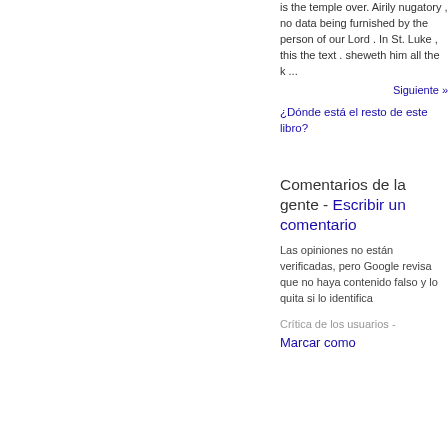is the temple over. Airily nugatory , no data being furnished by the person of our Lord . In St. Luke , this the text . sheweth him all the k ...
Siguiente »
¿Dónde está el resto de este libro?
Comentarios de la gente - Escribir un comentario
Las opiniones no están verificadas, pero Google revisa que no haya contenido falso y lo quita si lo identifica
Crítica de los usuarios - Marcar como